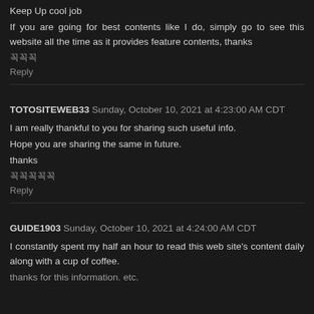Keep Up cool job
If you are going for best contents like I do, simply go to see this website all the time as it provides feature contents, thanks
꼭꼭
Reply
TOTOSITEWEB33  Sunday, October 10, 2021 at 4:23:00 AM CDT
I am really thankful to you for sharing such useful info. Hope you are sharing the same in future.
thanks
꼭꼭꼭꼭꼭
Reply
GUIDE1903  Sunday, October 10, 2021 at 4:24:00 AM CDT
I constantly spent my half an hour to read this web site's content daily along with a cup of coffee.
thanks for this information. etc.